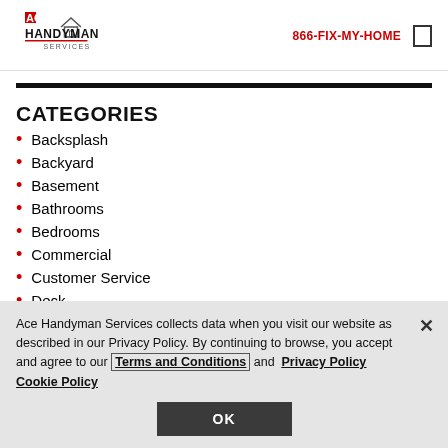ACE HANDYMAN SERVICES | 866-FIX-MY-HOME
CATEGORIES
Backsplash
Backyard
Basement
Bathrooms
Bedrooms
Commercial
Customer Service
Deck
Ace Handyman Services collects data when you visit our website as described in our Privacy Policy. By continuing to browse, you accept and agree to our Terms and Conditions and Privacy Policy Cookie Policy
OK